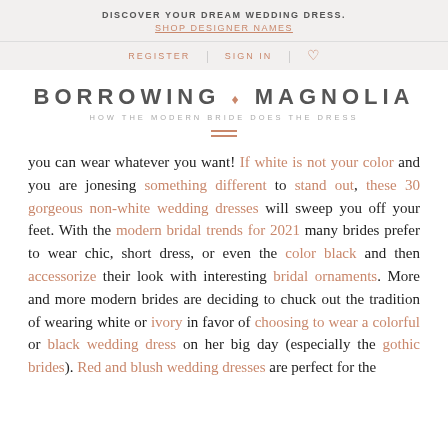DISCOVER YOUR DREAM WEDDING DRESS.
SHOP DESIGNER NAMES
REGISTER | SIGN IN | ♡
BORROWING ♦ MAGNOLIA
HOW THE MODERN BRIDE DOES THE DRESS
you can wear whatever you want! If white is not your color and you are jonesing something different to stand out, these 30 gorgeous non-white wedding dresses will sweep you off your feet. With the modern bridal trends for 2021 many brides prefer to wear chic, short dress, or even the color black and then accessorize their look with interesting bridal ornaments. More and more modern brides are deciding to chuck out the tradition of wearing white or ivory in favor of choosing to wear a colorful or black wedding dress on her big day (especially the gothic brides). Red and blush wedding dresses are perfect for the